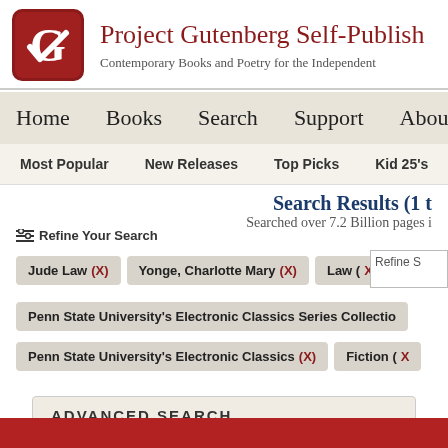[Figure (logo): Project Gutenberg Self-Publishing Press logo - red rounded square with white G letter]
Project Gutenberg Self-Publish
Contemporary Books and Poetry for the Independent
Home   Books   Search   Support   About U
Most Popular   New Releases   Top Picks   Kid 25's
Search Results (1 t
Searched over 7.2 Billion pages i
≔ Refine Your Search
Jude Law (X)
Yonge, Charlotte Mary (X)
Law (X)
Penn State University's Electronic Classics Series Collectio
Penn State University's Electronic Classics (X)
Fiction (X
ADVANCED SEARCH